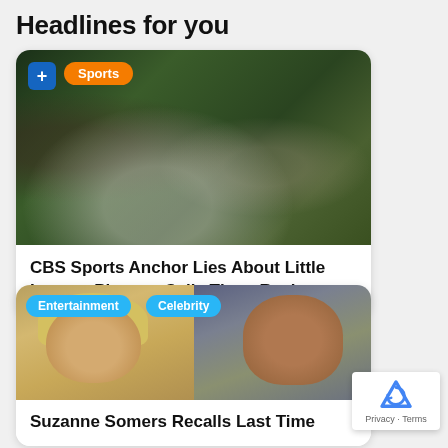Headlines for you
[Figure (photo): Sports photo showing baseball/little league players in green uniforms, with a Sports badge and blue plus icon overlay]
CBS Sports Anchor Lies About Little League Players, Calls Them Racists
[Figure (photo): Entertainment/Celebrity photo showing two people – a blonde woman on the left and a man on the right – with Entertainment and Celebrity category badges]
Suzanne Somers Recalls Last Time
Privacy · Terms